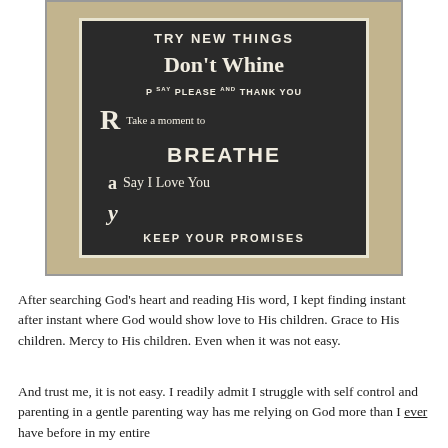[Figure (photo): A decorative wooden sign with dark background and white lettering reading various phrases: 'TRY NEW THINGS', 'Don't Whine', 'P say PLEASE and THANK YOU', 'R Take a moment to', 'BREATHE', 'a Say I Love You', 'y KEEP YOUR PROMISES', spelling out PRAY vertically on the left side. The sign is framed with a decorative stone/marble-patterned border.]
After searching God's heart and reading His word, I kept finding instant after instant where God would show love to His children. Grace to His children. Mercy to His children. Even when it was not easy.
And trust me, it is not easy. I readily admit I struggle with self control and parenting in a gentle parenting way has me relying on God more than I ever have before in my entire